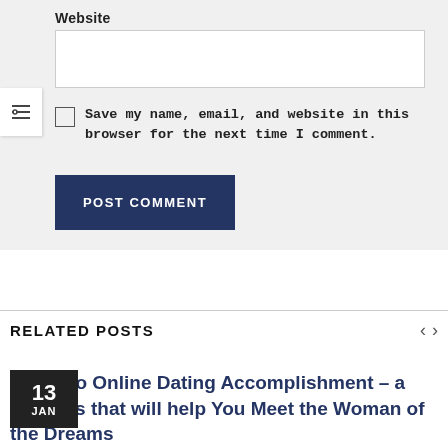Website
[Figure (screenshot): Website text input field (empty)]
Save my name, email, and website in this browser for the next time I comment.
[Figure (screenshot): POST COMMENT button in dark navy blue]
RELATED POSTS
Guide to Online Dating Accomplishment – a few Tips that will help You Meet the Woman of the Dreams